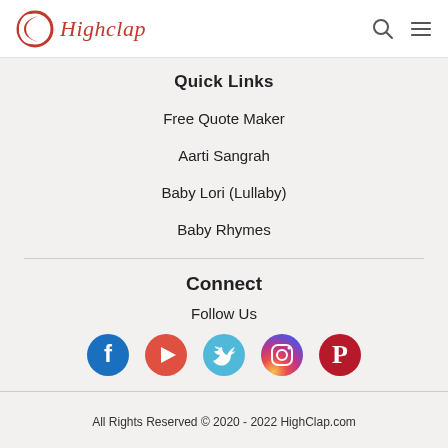[Figure (logo): Highclap logo with red crescent/circle icon and red italic script text 'Highclap']
[Figure (infographic): Search icon (magnifying glass) and hamburger menu icon in header nav]
Quick Links
Free Quote Maker
Aarti Sangrah
Baby Lori (Lullaby)
Baby Rhymes
Connect
Follow Us
[Figure (infographic): Social media icons: Facebook (blue circle), YouTube (red circle with play button), Twitter (light blue circle), Instagram (gradient circle), Pinterest (dark red circle)]
All Rights Reserved © 2020 - 2022 HighClap.com